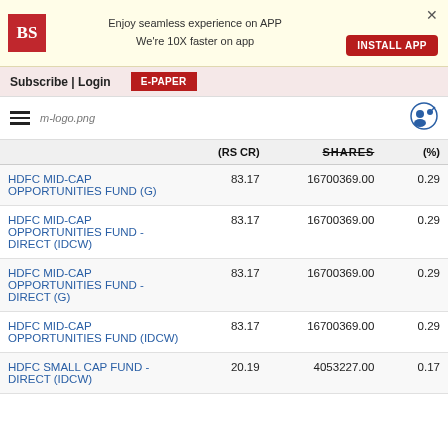Enjoy seamless experience on APP We're 10X faster on app | INSTALL APP
Subscribe | Login | E-PAPER
|  | (RS CR) | SHARES | (%) |
| --- | --- | --- | --- |
| HDFC MID-CAP OPPORTUNITIES FUND (G) | 83.17 | 16700369.00 | 0.29 |
| HDFC MID-CAP OPPORTUNITIES FUND - DIRECT (IDCW) | 83.17 | 16700369.00 | 0.29 |
| HDFC MID-CAP OPPORTUNITIES FUND - DIRECT (G) | 83.17 | 16700369.00 | 0.29 |
| HDFC MID-CAP OPPORTUNITIES FUND (IDCW) | 83.17 | 16700369.00 | 0.29 |
| HDFC SMALL CAP FUND - DIRECT (IDCW) | 20.19 | 4053227.00 | 0.17 |